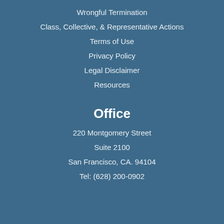Wrongful Termination
Class, Collective, & Representative Actions
Terms of Use
Privacy Policy
Legal Disclaimer
Resources
Office
220 Montgomery Street
Suite 2100
San Francisco, CA. 94104
Tel: (628) 200-0902